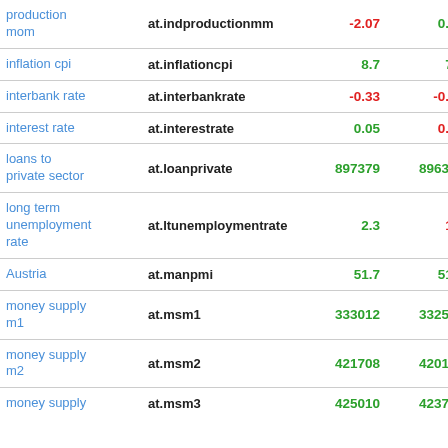| name | code | v1 | v2 | v3 |
| --- | --- | --- | --- | --- |
| production mom | at.indproductionmm | -2.07 | 0.93 | -322.58 |
| inflation cpi | at.inflationcpi | 8.7 | 7.7 | 12.99 |
| interbank rate | at.interbankrate | -0.33 | -0.33 | 0 |
| interest rate | at.interestrate | 0.05 | 0.05 | 0 |
| loans to private sector | at.loanprivate | 897379 | 896337 | 0.12 |
| long term unemployment rate | at.ltunemploymentrate | 2.3 | 1.5 | 0.533333 |
| Austria | at.manpmi | 51.7 | 51.2 | 0.98 |
| money supply m1 | at.msm1 | 333012 | 332568 | 0.13 |
| money supply m2 | at.msm2 | 421708 | 420181 | 0.36 |
| money supply | at.msm3 | 425010 | 423752 | 0.3 |